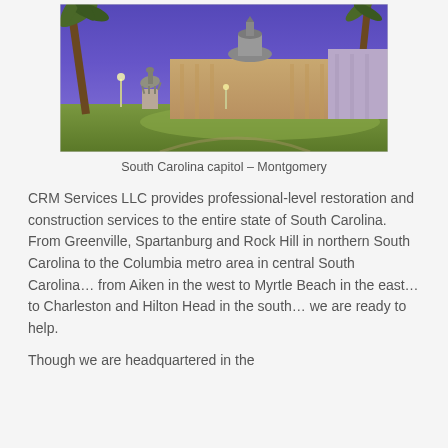[Figure (photo): Photograph of the South Carolina State Capitol building at dusk/night with palm trees, a statue on horseback, illuminated building facade, and green lawn in the foreground against a purple evening sky.]
South Carolina capitol – Montgomery
CRM Services LLC provides professional-level restoration and construction services to the entire state of South Carolina.  From Greenville, Spartanburg and Rock Hill in northern South Carolina to the Columbia metro area in central South Carolina… from Aiken in the west to Myrtle Beach in the east… to Charleston and Hilton Head in the south… we are ready to help.
Though we are headquartered in the